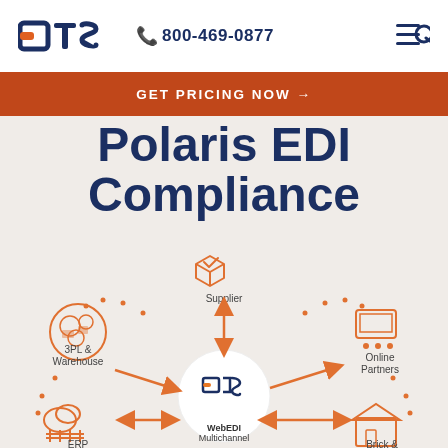DTS  800-469-0877
GET PRICING NOW →
Polaris EDI Compliance
[Figure (infographic): Diagram showing WebEDI Multichannel hub in center connected to Supplier (top), Online Partners (right), Brick & (bottom right), ERP (bottom left), 3PL & Warehouse (left) with arrows indicating bidirectional connections]